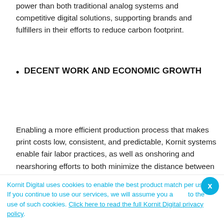power than both traditional analog systems and competitive digital solutions, supporting brands and fulfillers in their efforts to reduce carbon footprint.
DECENT WORK AND ECONOMIC GROWTH
Enabling a more efficient production process that makes print costs low, consistent, and predictable, Kornit systems enable fair labor practices, as well as onshoring and nearshoring efforts to both minimize the distance between production and the consumer, and create and maintain jobs locally
Kornit Digital uses cookies to enable the best product match per user. If you continue to use our services, we will assume you agree to the use of such cookies. Click here to read the full Kornit Digital privacy policy.